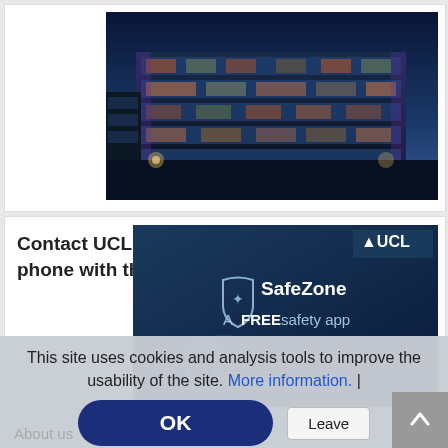[Figure (photo): Photo of a modern university building exterior at dusk with glass facade and purple/blue lighting]
Contact UCL's Security team direct from your phone with the SafeZone app - 01.08
[Figure (screenshot): SafeZone app promotional image showing 'SafeZone A FREE safety app' text on dark blue background with UCL logo]
This site uses cookies and analysis tools to improve the usability of the site. More information. |
OK
Leave
About us